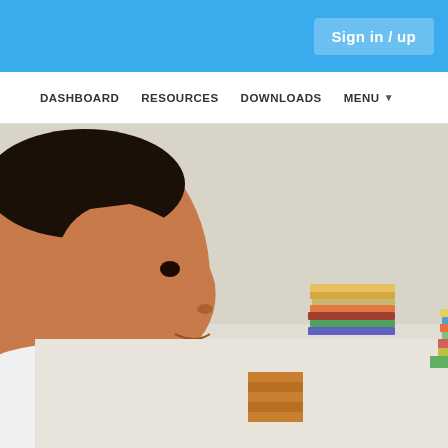Sign in / up
DASHBOARD   RESOURCES   DOWNLOADS   MENU
[Figure (photo): A young boy wearing a white shirt sits at a desk looking at a laptop screen. The desk has stacks of colorful books and cardboard block constructions arranged on it. The laptop screen shows a 3D modeling or game environment.]